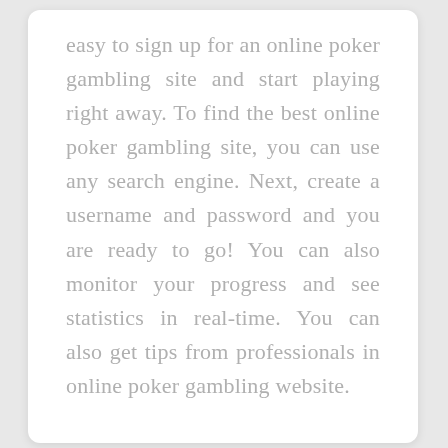easy to sign up for an online poker gambling site and start playing right away. To find the best online poker gambling site, you can use any search engine. Next, create a username and password and you are ready to go! You can also monitor your progress and see statistics in real-time. You can also get tips from professionals in online poker gambling website.